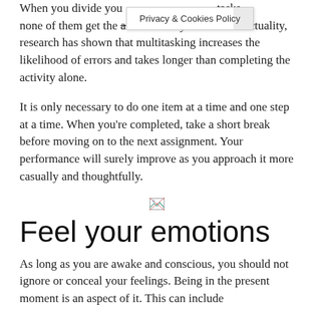When you divide your attention between tasks, none of them get the attention they deserve. In actuality, research has shown that multitasking increases the likelihood of errors and takes longer than completing the activity alone.
It is only necessary to do one item at a time and one step at a time. When you’re completed, take a short break before moving on to the next assignment. Your performance will surely improve as you approach it more casually and thoughtfully.
[Figure (illustration): Small broken image icon placeholder]
Feel your emotions
As long as you are awake and conscious, you should not ignore or conceal your feelings. Being in the present moment is an aspect of it. This can include